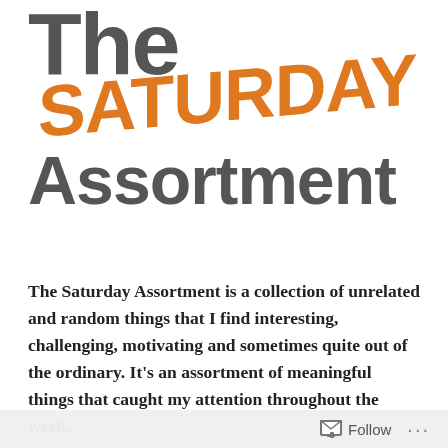The Saturday Assortment
The Saturday Assortment is a collection of unrelated and random things that I find interesting, challenging, motivating and sometimes quite out of the ordinary. It's an assortment of meaningful things that caught my attention throughout the week.
Faith and Doubt. Doubt and Faith. Both are present in
Follow